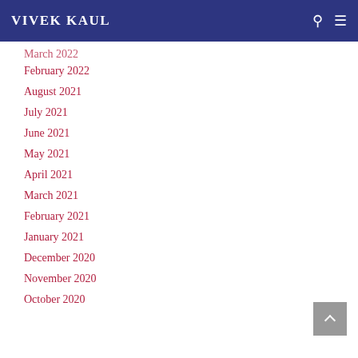VIVEK KAUL
March 2022
February 2022
August 2021
July 2021
June 2021
May 2021
April 2021
March 2021
February 2021
January 2021
December 2020
November 2020
October 2020